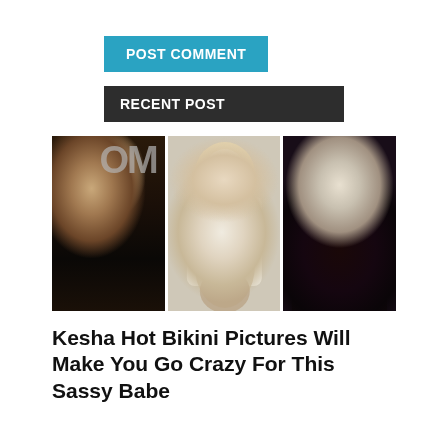POST COMMENT
RECENT POST
[Figure (photo): Three photos of Kesha: left photo shows her in a black leather outfit at an awards show, center photo shows her in a white off-shoulder sweater posing seated, right photo shows her with straight platinum blonde hair wearing a black lace dress.]
Kesha Hot Bikini Pictures Will Make You Go Crazy For This Sassy Babe